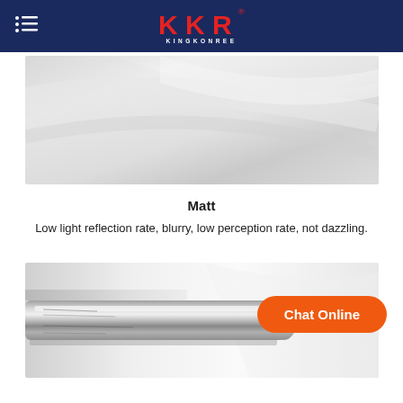KKR KINGKONREE
[Figure (photo): Matt surface product photo showing smooth curved white/grey solid surface material]
Matt
Low light reflection rate, blurry, low perception rate, not dazzling.
[Figure (photo): Glossy/mirror finish product photo showing shiny chrome/silver surface fixture]
Chat Online